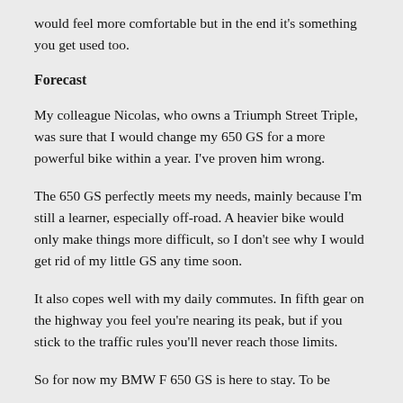would feel more comfortable but in the end it's something you get used too.
Forecast
My colleague Nicolas, who owns a Triumph Street Triple, was sure that I would change my 650 GS for a more powerful bike within a year. I've proven him wrong.
The 650 GS perfectly meets my needs, mainly because I'm still a learner, especially off-road. A heavier bike would only make things more difficult, so I don't see why I would get rid of my little GS any time soon.
It also copes well with my daily commutes. In fifth gear on the highway you feel you're nearing its peak, but if you stick to the traffic rules you'll never reach those limits.
So for now my BMW F 650 GS is here to stay. To be